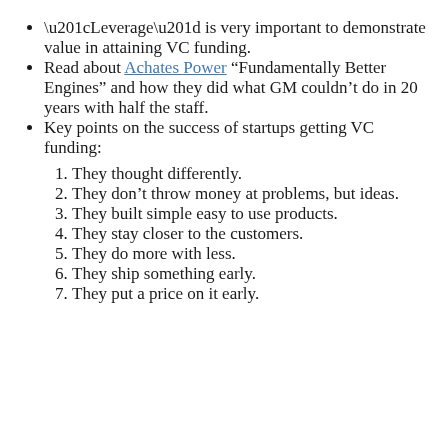“Leverage” is very important to demonstrate value in attaining VC funding.
Read about Achates Power “Fundamentally Better Engines” and how they did what GM couldn’t do in 20 years with half the staff.
Key points on the success of startups getting VC funding:
They thought differently.
They don’t throw money at problems, but ideas.
They built simple easy to use products.
They stay closer to the customers.
They do more with less.
They ship something early.
They put a price on it early.